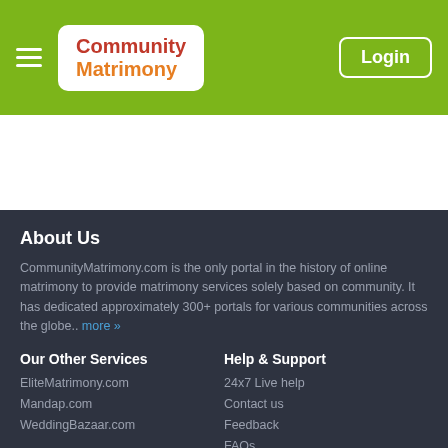Community Matrimony — Login
About Us
CommunityMatrimony.com is the only portal in the history of online matrimony to provide matrimony services solely based on community. It has dedicated approximately 300+ portals for various communities across the globe... more »
Our Other Services
EliteMatrimony.com
Mandap.com
WeddingBazaar.com
Help & Support
24x7 Live help
Contact us
Feedback
FAQs
Quick Links